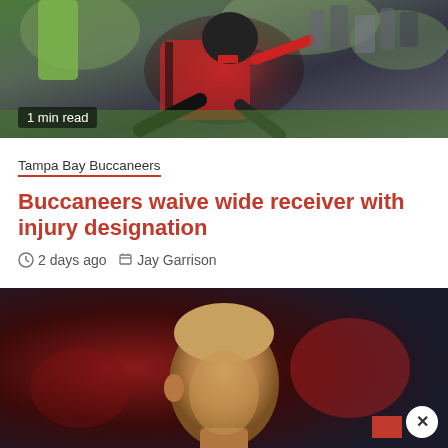[Figure (photo): Football player diving/stretching on field, crowd in background, action shot]
1 min read
Tampa Bay Buccaneers
Buccaneers waive wide receiver with injury designation
2 days ago   Jay Garrison
[Figure (photo): Close-up of a bald man's head against dark background with red elements]
Advertisements
[Figure (photo): Advertisement banner featuring makeup/beauty products including lips, brush, eye makeup, Ulta Beauty logo, eyes, and Shop Now text]